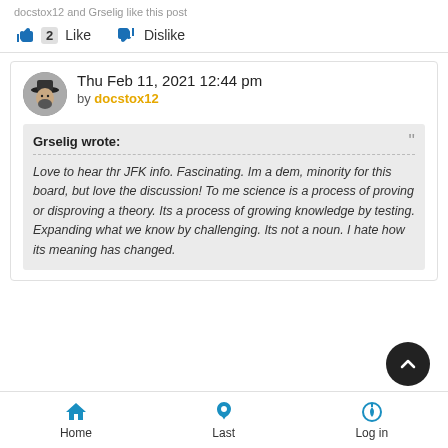docstox12 and Grselig like this post
👍 2  Like    👎  Dislike
Thu Feb 11, 2021 12:44 pm by docstox12
Grselig wrote:
Love to hear thr JFK info.  Fascinating.  Im a dem, minority for this board, but love the discussion!  To me science is a process of proving or disproving a theory.   Its a process of growing knowledge by testing.  Expanding what we know by challenging.  Its not a noun.  I hate how its meaning has changed.
Home  Last  Log in